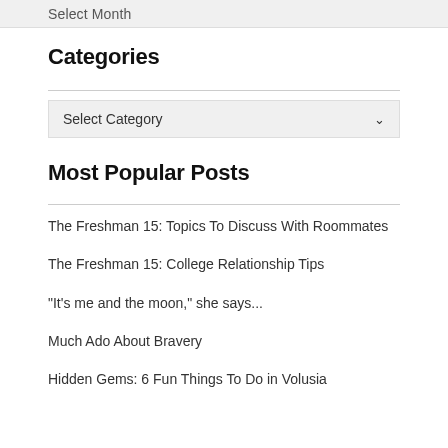Select Month
Categories
Select Category
Most Popular Posts
The Freshman 15: Topics To Discuss With Roommates
The Freshman 15: College Relationship Tips
"It's me and the moon," she says...
Much Ado About Bravery
Hidden Gems: 6 Fun Things To Do in Volusia